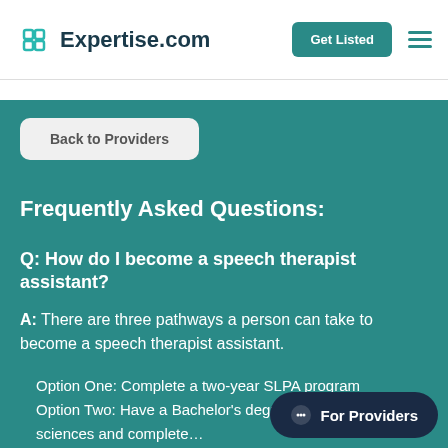Expertise.com | Get Listed
Back to Providers
Frequently Asked Questions:
Q: How do I become a speech therapist assistant?
A: There are three pathways a person can take to become a speech therapist assistant.
Option One: Complete a two-year SLPA program
Option Two: Have a Bachelor's degree in communication sciences and disorders and complete a SLPA course.